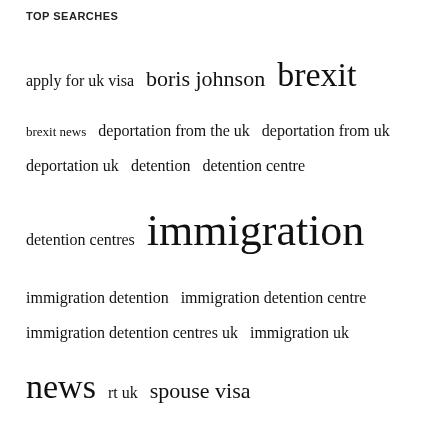TOP SEARCHES
apply for uk visa  boris johnson  brexit  brexit news  deportation from the uk  deportation from uk  deportation uk  detention  detention centre  detention centres  immigration  immigration detention  immigration detention centre  immigration detention centres uk  immigration uk  news  rt uk  spouse visa  spouse visa uk  study visa  tier 2 visa uk  uk
We use cookies on our website to give you the most relevant experience by remembering your preferences and repeat visits. By clicking “Accept All”, you consent to the use of ALL the cookies. However, you may visit "Cookie Settings" to provide a controlled consent.
Cookie Settings  Accept All